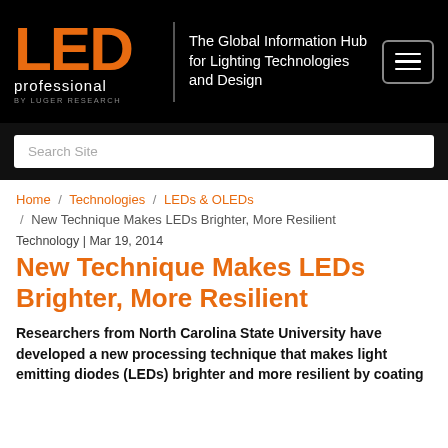[Figure (logo): LED professional by Luger Research logo with orange LED text and white 'professional' and 'BY LUGER RESEARCH' text on black background]
The Global Information Hub for Lighting Technologies and Design
Search Site
Home / Technologies / LEDs & OLEDs / New Technique Makes LEDs Brighter, More Resilient
Technology | Mar 19, 2014
New Technique Makes LEDs Brighter, More Resilient
Researchers from North Carolina State University have developed a new processing technique that makes light emitting diodes (LEDs) brighter and more resilient by coating